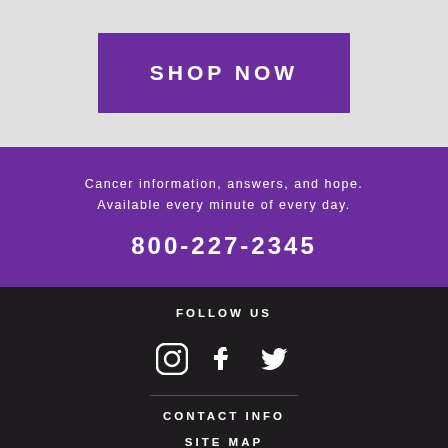SHOP NOW
Cancer information, answers, and hope. Available every minute of every day.
800-227-2345
FOLLOW US
[Figure (illustration): Social media icons: Instagram, Facebook, Twitter]
CONTACT INFO
SITE MAP